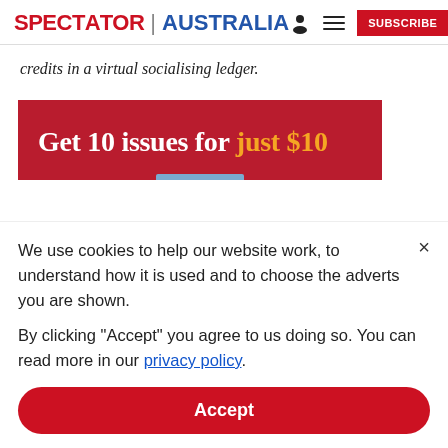SPECTATOR | AUSTRALIA
credits in a virtual socialising ledger.
[Figure (infographic): Red advertisement banner reading 'Get 10 issues for just $10' with white and gold text on crimson background]
We use cookies to help our website work, to understand how it is used and to choose the adverts you are shown.
By clicking "Accept" you agree to us doing so. You can read more in our privacy policy.